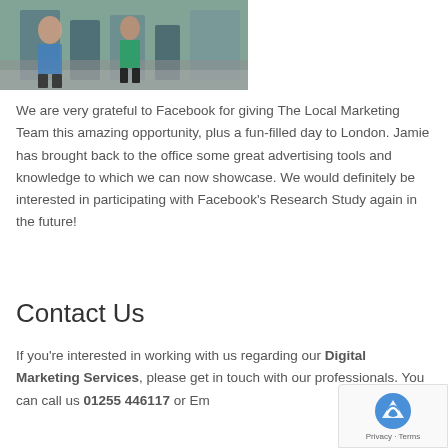[Figure (photo): People walking in an outdoor/indoor space, partial view of legs and street scene]
We are very grateful to Facebook for giving The Local Marketing Team this amazing opportunity, plus a fun-filled day to London. Jamie has brought back to the office some great advertising tools and knowledge to which we can now showcase. We would definitely be interested in participating with Facebook's Research Study again in the future!
Contact Us
If you're interested in working with us regarding our Digital Marketing Services, please get in touch with our professionals. You can call us 01255 446117 or Em...